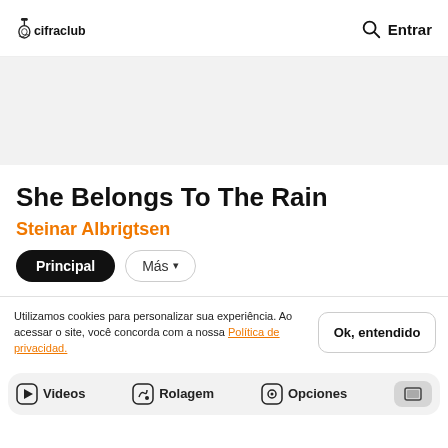cifraclub — Entrar
[Figure (other): Advertisement banner — light gray background]
She Belongs To The Rain
Steinar Albrigtsen
Principal   Más ▾
Utilizamos cookies para personalizar sua experiência. Ao acessar o site, você concorda com a nossa Política de privacidad.   Ok, entendido
Videos   Rolagem   Opciones